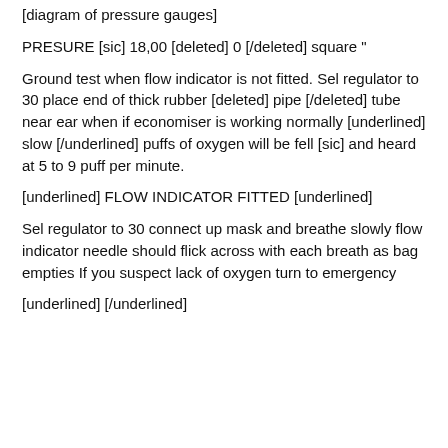[diagram of pressure gauges]
PRESURE [sic] 18,00 [deleted] 0 [/deleted] square "
Ground test when flow indicator is not fitted. Sel regulator to 30 place end of thick rubber [deleted] pipe [/deleted] tube near ear when if economiser is working normally [underlined] slow [/underlined] puffs of oxygen will be fell [sic] and heard at 5 to 9 puff per minute.
[underlined] FLOW INDICATOR FITTED [underlined]
Sel regulator to 30 connect up mask and breathe slowly flow indicator needle should flick across with each breath as bag empties If you suspect lack of oxygen turn to emergency
[underlined] [/underlined]